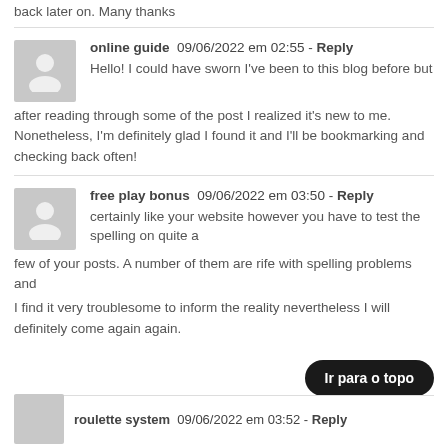back later on. Many thanks
online guide  09/06/2022 em 02:55 - Reply
Hello! I could have sworn I've been to this blog before but after reading through some of the post I realized it's new to me. Nonetheless, I'm definitely glad I found it and I'll be bookmarking and checking back often!
free play bonus  09/06/2022 em 03:50 - Reply
certainly like your website however you have to test the spelling on quite a few of your posts. A number of them are rife with spelling problems and I find it very troublesome to inform the reality nevertheless I will definitely come again again.
Ir para o topo
roulette system  09/06/2022 em 03:52 - Reply